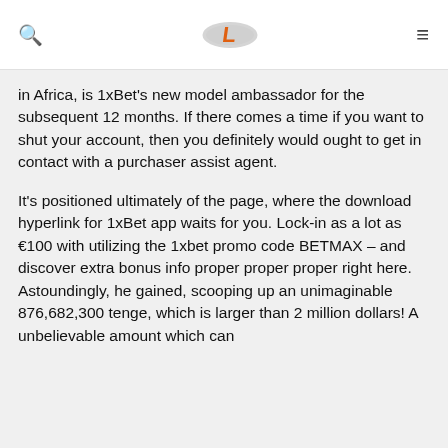[Figure (logo): Website header with search icon, stylized L logo in orange and grey, and hamburger menu icon]
in Africa, is 1xBet's new model ambassador for the subsequent 12 months. If there comes a time if you want to shut your account, then you definitely would ought to get in contact with a purchaser assist agent.
It's positioned ultimately of the page, where the download hyperlink for 1xBet app waits for you. Lock-in as a lot as €100 with utilizing the 1xbet promo code BETMAX – and discover extra bonus info proper proper proper right here. Astoundingly, he gained, scooping up an unimaginable 876,682,300 tenge, which is larger than 2 million dollars! A unbelievable amount which can